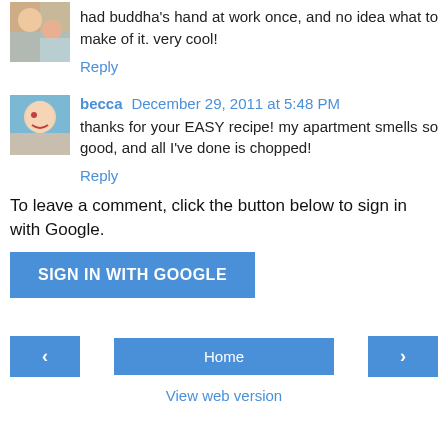[Figure (photo): Small avatar photo of a woman with child, top-left of first comment]
had buddha's hand at work once, and no idea what to make of it. very cool!
Reply
[Figure (photo): Small avatar photo of a person with artistic face paint, becca's comment]
becca  December 29, 2011 at 5:48 PM
thanks for your EASY recipe! my apartment smells so good, and all I've done is chopped!
Reply
To leave a comment, click the button below to sign in with Google.
SIGN IN WITH GOOGLE
Home
View web version